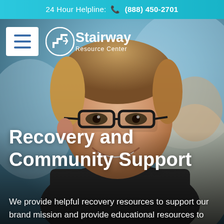24 Hour Helpline: 📞 (888) 450-2701
[Figure (photo): Young man with glasses smiling, photographed close-up, with another person partially visible in the foreground]
≡ Stairway Resource Center (navigation logo with hamburger menu)
Recovery and Community Support
We provide helpful recovery resources to support our brand mission and provide educational resources to